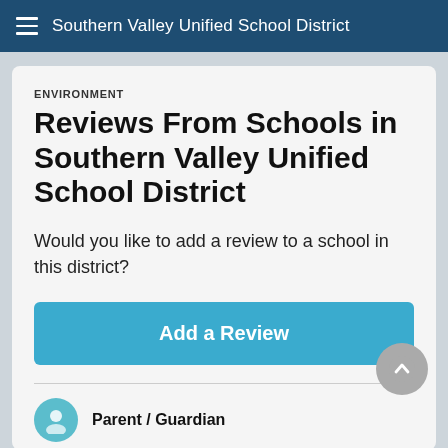Southern Valley Unified School District
ENVIRONMENT
Reviews From Schools in Southern Valley Unified School District
Would you like to add a review to a school in this district?
Add a Review
Parent / Guardian